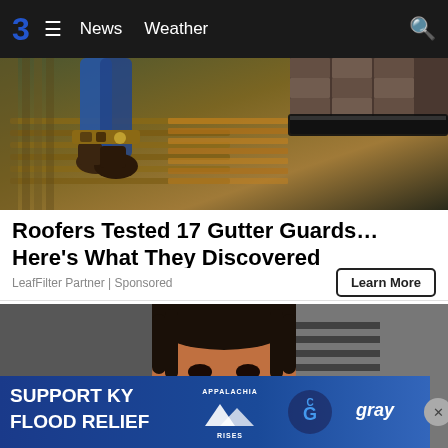3  ≡  News  Weather  🔍
[Figure (photo): Roofing/gutter guard advertisement photo showing a roofer's boots and legs on a roof with gutters visible]
Roofers Tested 17 Gutter Guards… Here's What They Discovered
LeafFilter Partner | Sponsored
[Figure (photo): Mugshot-style photo of a person against a lined background, partially visible]
[Figure (infographic): SUPPORT KY FLOOD RELIEF banner ad with Appalachia Rises and gray network logos]